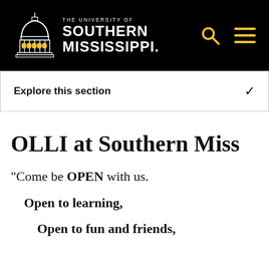[Figure (logo): The University of Southern Mississippi logo with dome building icon in white/gold on black background, with search and menu icons in gold]
Explore this section
OLLI at Southern Miss
"Come be OPEN with us.
  Open to learning,
    Open to fun and friends,